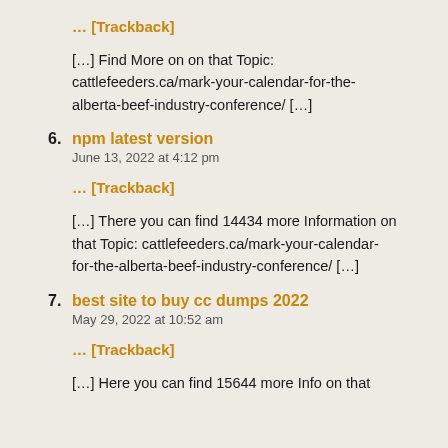… [Trackback]
[…] Find More on on that Topic: cattlefeeders.ca/mark-your-calendar-for-the-alberta-beef-industry-conference/ […]
6. npm latest version
June 13, 2022 at 4:12 pm
… [Trackback]
[…] There you can find 14434 more Information on that Topic: cattlefeeders.ca/mark-your-calendar-for-the-alberta-beef-industry-conference/ […]
7. best site to buy cc dumps 2022
May 29, 2022 at 10:52 am
… [Trackback]
[…] Here you can find 15644 more Info on that